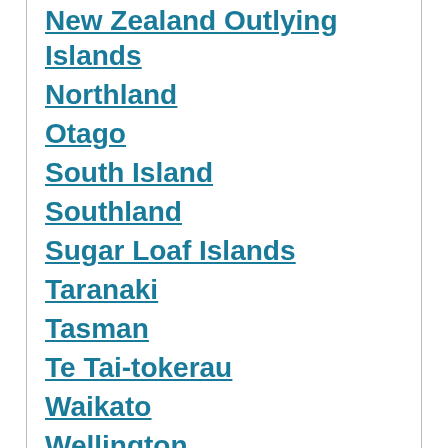New Zealand Outlying Islands
Northland
Otago
South Island
Southland
Sugar Loaf Islands
Taranaki
Tasman
Te Tai-tokerau
Waikato
Wellington
West Coast
Countries with most tidal stations
United States (3307)